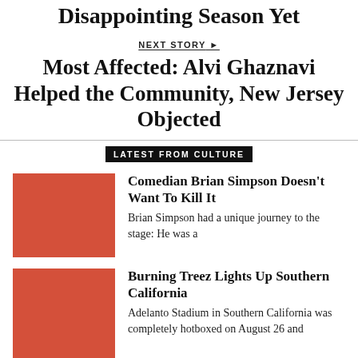Disappointing Season Yet
NEXT STORY
Most Affected: Alvi Ghaznavi Helped the Community, New Jersey Objected
LATEST FROM CULTURE
[Figure (photo): Red/terracotta colored thumbnail image placeholder for Comedian Brian Simpson article]
Comedian Brian Simpson Doesn't Want To Kill It
Brian Simpson had a unique journey to the stage: He was a
[Figure (photo): Red/terracotta colored thumbnail image placeholder for Burning Treez article]
Burning Treez Lights Up Southern California
Adelanto Stadium in Southern California was completely hotboxed on August 26 and